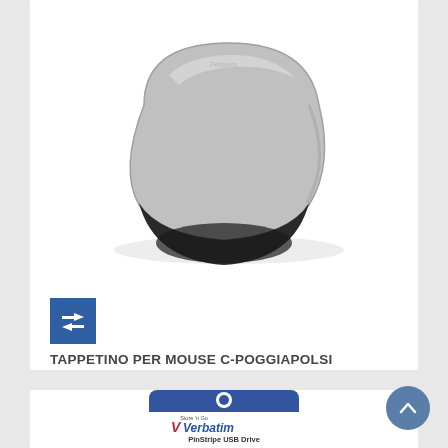[Figure (photo): Fellowes mouse pad with wrist rest, silver and black color]
[Figure (logo): Blue square compare/exchange icon with two horizontal arrows]
TAPPETINO PER MOUSE C-POGGIAPOLSI
[Figure (photo): Verbatim PinStripe USB Drive 8GB product in packaging, Store n Go branding]